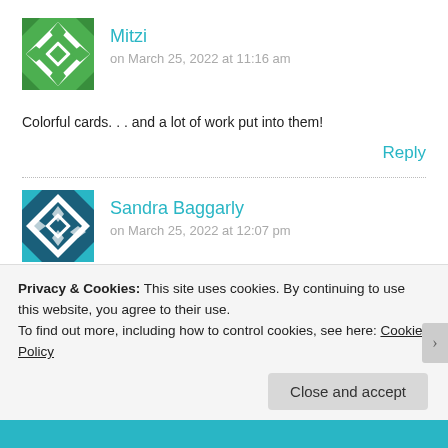[Figure (illustration): Green geometric/quilt pattern avatar icon for user Mitzi]
Mitzi
on March 25, 2022 at 11:16 am
Colorful cards. . . and a lot of work put into them!
Reply
[Figure (illustration): Blue/teal geometric/quilt pattern avatar icon for user Sandra Baggarly]
Sandra Baggarly
on March 25, 2022 at 12:07 pm
Such cute cards! I'm loving these cute little rain boots
Privacy & Cookies: This site uses cookies. By continuing to use this website, you agree to their use.
To find out more, including how to control cookies, see here: Cookie Policy
Close and accept